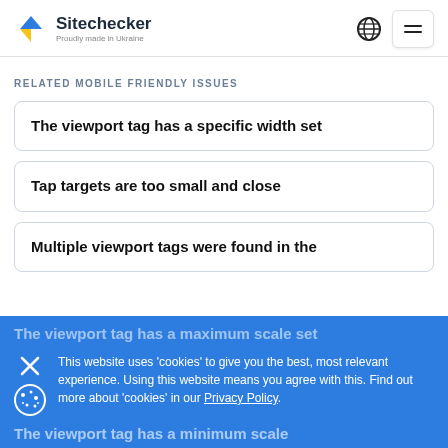Sitechecker — Proudly made in Ukraine
RELATED MOBILE FRIENDLY ISSUES
The viewport tag has a specific width set
Tap targets are too small and close
Multiple viewport tags were found in the
This website uses 'cookies' to give you the best, most relevant experience. Using this website means you agree with this. Find out more about 'cookies' in our Privacy Policy.